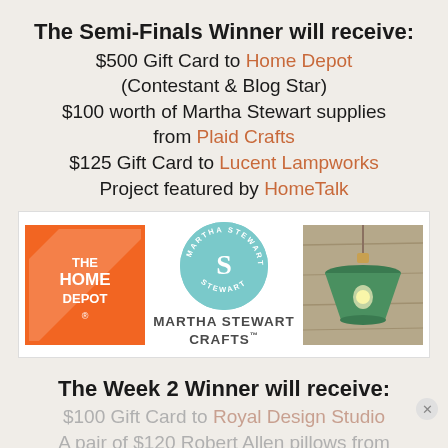The Semi-Finals Winner will receive:
$500 Gift Card to Home Depot (Contestant & Blog Star)
$100 worth of Martha Stewart supplies from Plaid Crafts
$125 Gift Card to Lucent Lampworks
Project featured by HomeTalk
[Figure (logo): Three sponsor logos: The Home Depot (orange), Martha Stewart Crafts (teal circle), and a green pendant lamp photo]
The Week 2 Winner will receive:
$100 Gift Card to Royal Design Studio
A pair of $120 Robert Allen pillows from